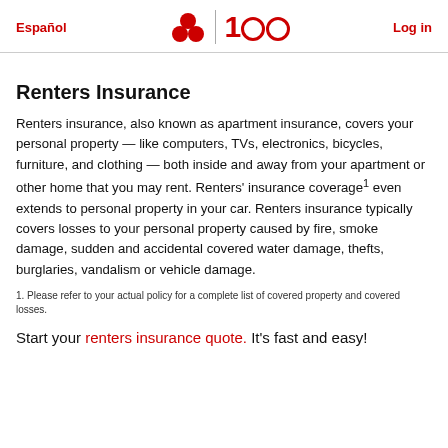Español | [logo] 100 | Log in
Renters Insurance
Renters insurance, also known as apartment insurance, covers your personal property — like computers, TVs, electronics, bicycles, furniture, and clothing — both inside and away from your apartment or other home that you may rent. Renters' insurance coverage¹ even extends to personal property in your car. Renters insurance typically covers losses to your personal property caused by fire, smoke damage, sudden and accidental covered water damage, thefts, burglaries, vandalism or vehicle damage.
1. Please refer to your actual policy for a complete list of covered property and covered losses.
Start your renters insurance quote. It's fast and easy!